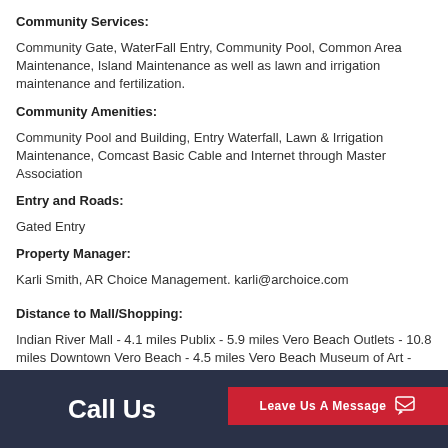Community Services:
Community Gate, WaterFall Entry, Community Pool, Common Area Maintenance, Island Maintenance as well as lawn and irrigation maintenance and fertilization.
Community Amenities:
Community Pool and Building, Entry Waterfall, Lawn & Irrigation Maintenance, Comcast Basic Cable and Internet through Master Association
Entry and Roads:
Gated Entry
Property Manager:
Karli Smith, AR Choice Management. karli@archoice.com
Distance to Mall/Shopping:
Indian River Mall - 4.1 miles Publix - 5.9 miles Vero Beach Outlets - 10.8 miles Downtown Vero Beach - 4.5 miles Vero Beach Museum of Art - 3.8 miles
Call Us   Email Us   Leave Us A Message